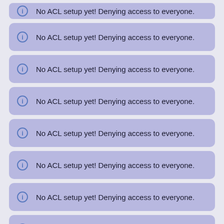No ACL setup yet! Denying access to everyone.
No ACL setup yet! Denying access to everyone.
No ACL setup yet! Denying access to everyone.
No ACL setup yet! Denying access to everyone.
No ACL setup yet! Denying access to everyone.
No ACL setup yet! Denying access to everyone.
No ACL setup yet! Denying access to everyone.
No ACL setup yet! Denying access to everyone.
No ACL setup yet! Denying access to everyone.
No ACL setup yet! Denying access to everyone.
No ACL setup yet! Denying access to everyone.